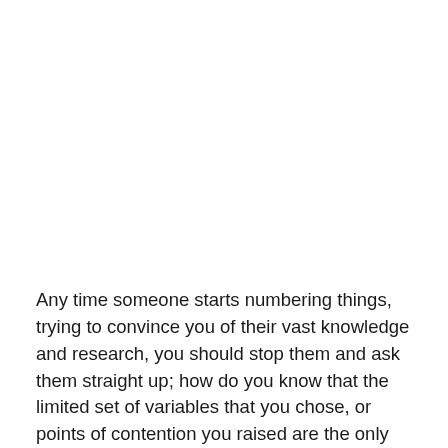Any time someone starts numbering things, trying to convince you of their vast knowledge and research, you should stop them and ask them straight up; how do you know that the limited set of variables that you chose, or points of contention you raised are the only